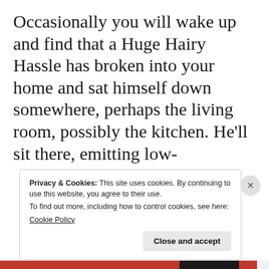Occasionally you will wake up and find that a Huge Hairy Hassle has broken into your home and sat himself down somewhere, perhaps the living room, possibly the kitchen. He'll sit there, emitting low-
Privacy & Cookies: This site uses cookies. By continuing to use this website, you agree to their use.
To find out more, including how to control cookies, see here:
Cookie Policy
Close and accept